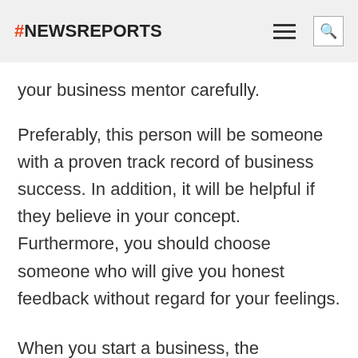#NEWSREPORTS
your business mentor carefully.
Preferably, this person will be someone with a proven track record of business success. In addition, it will be helpful if they believe in your concept. Furthermore, you should choose someone who will give you honest feedback without regard for your feelings.
When you start a business, the experience can be thrilling. Do your homework, take it